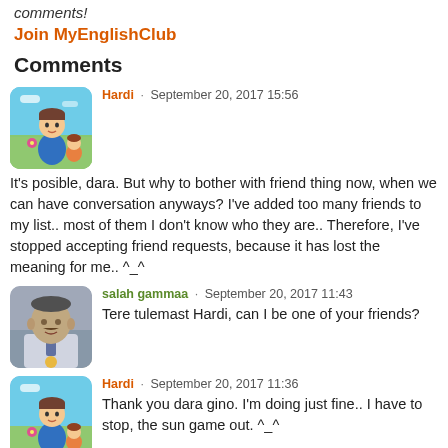comments!
Join MyEnglishClub
Comments
Hardi · September 20, 2017 15:56
It's posible, dara. But why to bother with friend thing now, when we can have conversation anyways? I've added too many friends to my list.. most of them I don't know who they are.. Therefore, I've stopped accepting friend requests, because it has lost the meaning for me.. ^_^
salah gammaa · September 20, 2017 11:43
Tere tulemast Hardi, can I be one of your friends?
Hardi · September 20, 2017 11:36
Thank you dara gino. I'm doing just fine.. I have to stop, the sun game out. ^_^
salah gammaa · September 20, 2017 10:12
Kuidas sul laheb, Hardi? I hope to be one of your friends. Nice photo